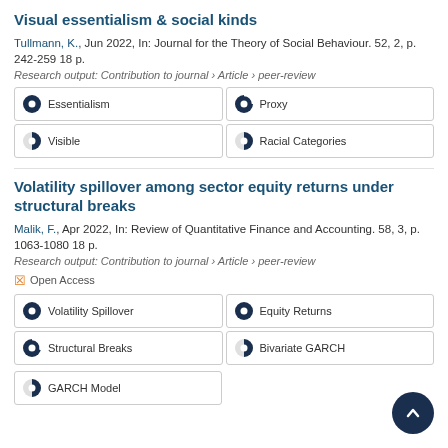Visual essentialism & social kinds
Tullmann, K., Jun 2022, In: Journal for the Theory of Social Behaviour. 52, 2, p. 242-259 18 p.
Research output: Contribution to journal › Article › peer-review
[Figure (infographic): Four keyword badges: Essentialism (100%), Proxy (90%), Visible (55%), Racial Categories (55%)]
Volatility spillover among sector equity returns under structural breaks
Malik, F., Apr 2022, In: Review of Quantitative Finance and Accounting. 58, 3, p. 1063-1080 18 p.
Research output: Contribution to journal › Article › peer-review
Open Access
[Figure (infographic): Five keyword badges: Volatility Spillover (100%), Equity Returns (100%), Structural Breaks (100%), Bivariate GARCH (55%), GARCH Model (55%)]